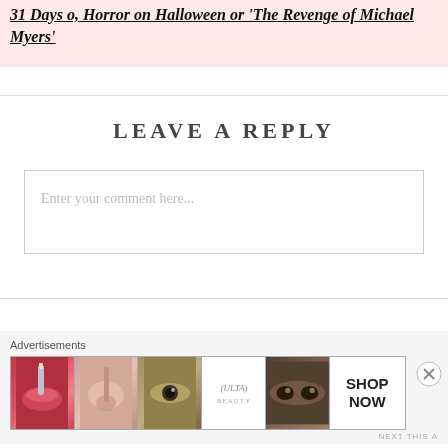31 Days of Horror on Halloween or 'The Revenge of Michael Myers'
LEAVE A REPLY
Enter your comment here...
[Figure (advertisement): Ulta Beauty advertisement strip showing close-up makeup images including lips, brush, eye, Ulta logo, eyes, and SHOP NOW text]
NEXT THIS A